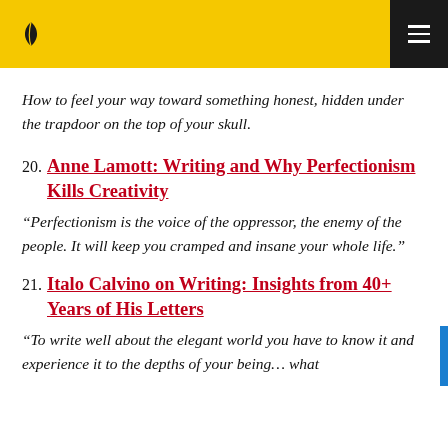How to feel your way toward something honest, hidden under the trapdoor on the top of your skull.
20. Anne Lamott: Writing and Why Perfectionism Kills Creativity — “Perfectionism is the voice of the oppressor, the enemy of the people. It will keep you cramped and insane your whole life.”
21. Italo Calvino on Writing: Insights from 40+ Years of His Letters — “To write well about the elegant world you have to know it and experience it to the depths of your being… what